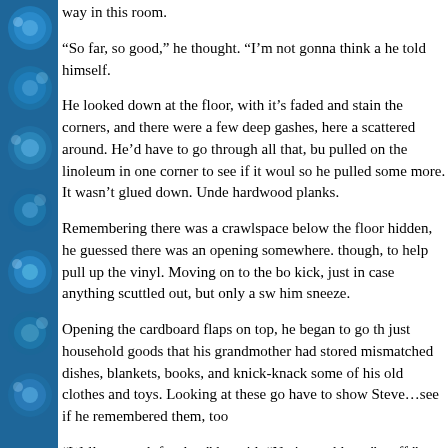[Figure (illustration): Blue decorative sidebar with circular bubble patterns in shades of blue and teal]
way in this room.
“So far, so good,” he thought. “I’m not gonna think a he told himself.
He looked down at the floor, with it’s faded and stain the corners, and there were a few deep gashes, here a scattered around. He’d have to go through all that, bu pulled on the linoleum in one corner to see if it woul so he pulled some more. It wasn’t glued down. Unde hardwood planks.
Remembering there was a crawlspace below the floor hidden, he guessed there was an opening somewhere. though, to help pull up the vinyl. Moving on to the bo kick, just in case anything scuttled out, but only a sw him sneeze.
Opening the cardboard flaps on top, he began to go th just household goods that his grandmother had stored mismatched dishes, blankets, books, and knick-knack some of his old clothes and toys. Looking at these go have to show Steve…see if he remembered them, too
“Well, so much for that,” he said. “No journal here.” stuff.”